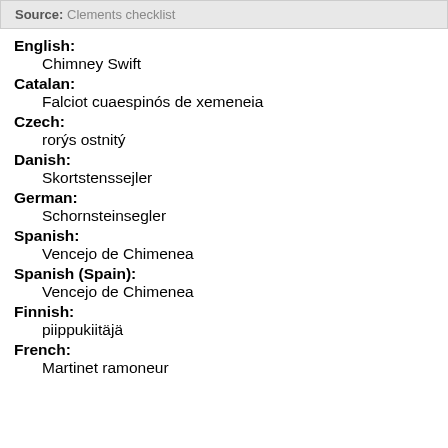Source: Clements checklist
English: Chimney Swift
Catalan: Falciot cuaespinós de xemeneia
Czech: rorýs ostnitý
Danish: Skortstenssejler
German: Schornsteinsegler
Spanish: Vencejo de Chimenea
Spanish (Spain): Vencejo de Chimenea
Finnish: piippukiitäjä
French: Martinet ramoneur